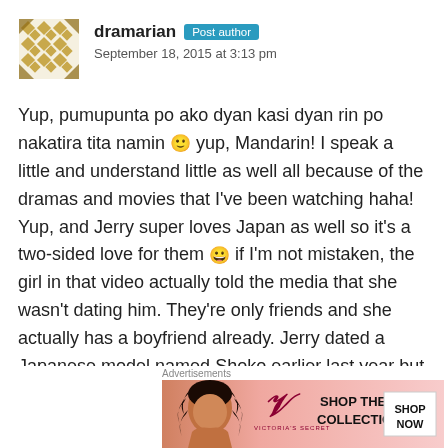dramarian | Post author | September 18, 2015 at 3:13 pm
Yup, pumupunta po ako dyan kasi dyan rin po nakatira tita namin 🙂 yup, Mandarin! I speak a little and understand little as well all because of the dramas and movies that I've been watching haha! Yup, and Jerry super loves Japan as well so it's a two-sided love for them 😀 if I'm not mistaken, the girl in that video actually told the media that she wasn't dating him. They're only friends and she actually has a boyfriend already. Jerry dated a Japanese model named Shoko earlier last year but it was just a brief romance. Di ko rin gusto si Lin Chi Ling pero nung napanood ko yung isang movie niya, nagets ko na
[Figure (photo): Victoria's Secret advertisement banner with model and VS logo, SHOP THE COLLECTION and SHOP NOW text]